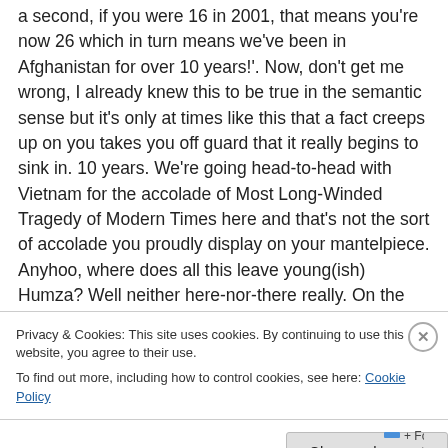a second, if you were 16 in 2001, that means you're now 26 which in turn means we've been in Afghanistan for over 10 years!'. Now, don't get me wrong, I already knew this to be true in the semantic sense but it's only at times like this that a fact creeps up on you takes you off guard that it really begins to sink in. 10 years. We're going head-to-head with Vietnam for the accolade of Most Long-Winded Tragedy of Modern Times here and that's not the sort of accolade you proudly display on your mantelpiece. Anyhoo, where does all this leave young(ish) Humza? Well neither here-nor-there really. On the one hand, he
Privacy & Cookies: This site uses cookies. By continuing to use this website, you agree to their use.
To find out more, including how to control cookies, see here: Cookie Policy